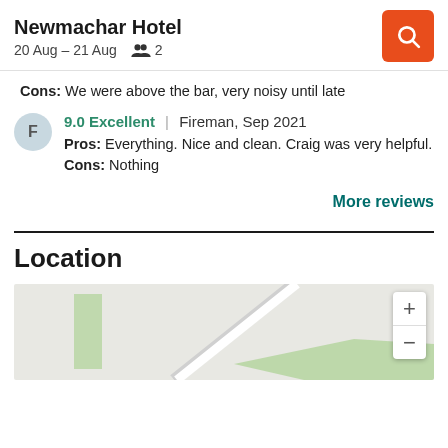Newmachar Hotel | 20 Aug – 21 Aug | 2 guests
Cons: We were above the bar, very noisy until late
9.0 Excellent | Fireman, Sep 2021
Pros: Everything. Nice and clean. Craig was very helpful.
Cons: Nothing
More reviews
Location
[Figure (map): Map showing location of Newmachar Hotel with zoom controls (+/-)]